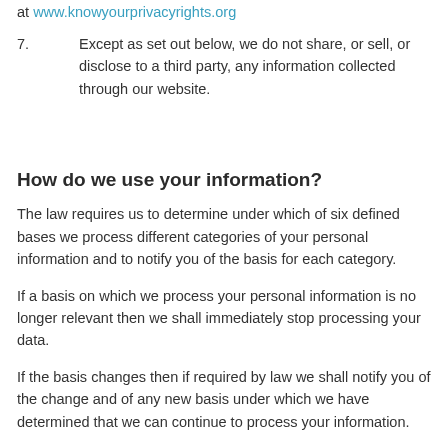at www.knowyourprivacyrights.org
7.		Except as set out below, we do not share, or sell, or disclose to a third party, any information collected through our website.
How do we use your information?
The law requires us to determine under which of six defined bases we process different categories of your personal information and to notify you of the basis for each category.
If a basis on which we process your personal information is no longer relevant then we shall immediately stop processing your data.
If the basis changes then if required by law we shall notify you of the change and of any new basis under which we have determined that we can continue to process your information.